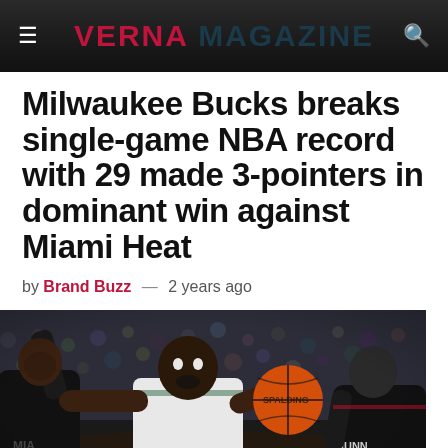VERNA MAGAZINE
Milwaukee Bucks breaks single-game NBA record with 29 made 3-pointers in dominant win against Miami Heat
by Brand Buzz — 2 years ago
[Figure (photo): Basketball game action shot: a Milwaukee Bucks player in white uniform driving to the basket with the ball (Spalding), being defended by Miami Heat players in black uniforms. Player on right has 'NUNN' on jersey.]